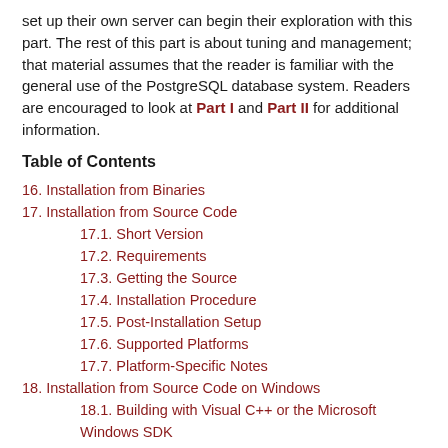set up their own server can begin their exploration with this part. The rest of this part is about tuning and management; that material assumes that the reader is familiar with the general use of the PostgreSQL database system. Readers are encouraged to look at Part I and Part II for additional information.
Table of Contents
16. Installation from Binaries
17. Installation from Source Code
17.1. Short Version
17.2. Requirements
17.3. Getting the Source
17.4. Installation Procedure
17.5. Post-Installation Setup
17.6. Supported Platforms
17.7. Platform-Specific Notes
18. Installation from Source Code on Windows
18.1. Building with Visual C++ or the Microsoft Windows SDK
19. Server Setup and Operation